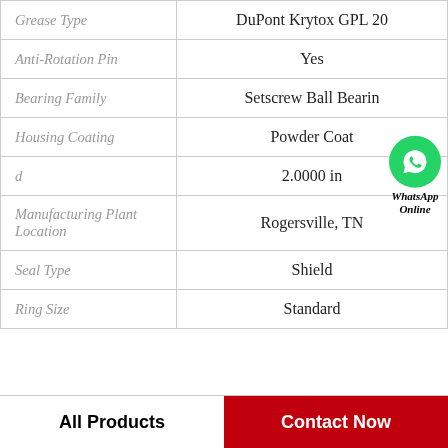| Property | Value |
| --- | --- |
| Grease Type | DuPont Krytox GPL 20 |
| Anti-Rotation Pin | Yes |
| Bearing Family | Setscrew Ball Bearin |
| Housing Coating | Powder Coat |
| d | 2.0000 in |
| Manufacturing Plant Location | Rogersville, TN |
| Seal Type | Shield |
| Ring Size | Standard |
[Figure (logo): WhatsApp Online badge with green WhatsApp icon and bold italic text 'WhatsApp Online']
All Products  |  Contact Now